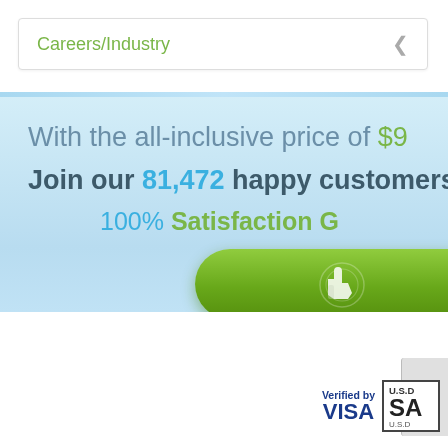Careers/Industry
With the all-inclusive price of $9
Join our 81,472 happy customers and
100% Satisfaction G
[Figure (illustration): Green rounded button with white pointing finger/cursor icon]
[Figure (logo): Verified by VISA logo and US D (SafeBox) partial logo at bottom right]